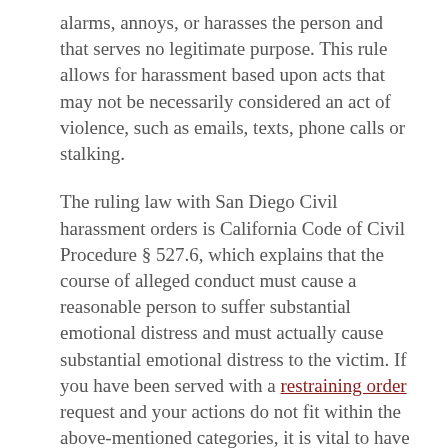alarms, annoys, or harasses the person and that serves no legitimate purpose. This rule allows for harassment based upon acts that may not be necessarily considered an act of violence, such as emails, texts, phone calls or stalking.
The ruling law with San Diego Civil harassment orders is California Code of Civil Procedure § 527.6, which explains that the course of alleged conduct must cause a reasonable person to suffer substantial emotional distress and must actually cause substantial emotional distress to the victim. If you have been served with a restraining order request and your actions do not fit within the above-mentioned categories, it is vital to have a proven advocate handling your defense.